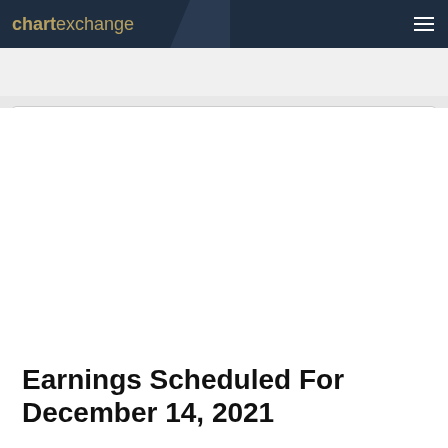chartexchange
Search
Earnings Scheduled For December 14, 2021